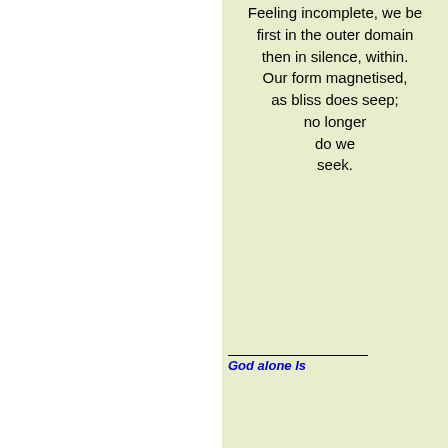Feeling incomplete, we be
first in the outer domain
then in silence, within.
Our form magnetised,
as bliss does seep;
no longer
do we
seek.
God alone Is
08-01-2021, 08:21 AM
Unseeking Seeker
Master
Join Date: Sep 2018
Location: Delhi, India
Posts: 8,494
The guru chakra
Bliss
chakra
is throbbing
with full power,
gripping attention